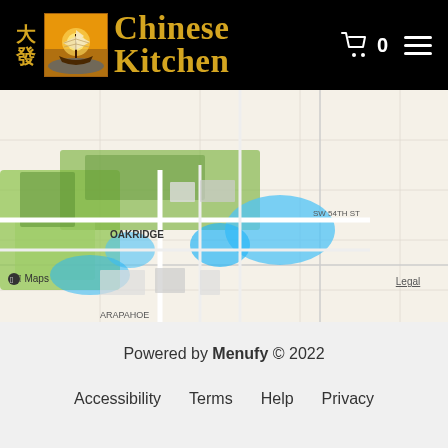大發 Chinese Kitchen  🛒 0  ☰
[Figure (map): Apple Maps showing location near Oakridge and SW 54th St area with green parks, blue water features, and street layout. Map shows 'OAKRIDGE', 'SW 54TH ST', 'ARAPAHOE' labels and Apple Maps branding with a 'Legal' link.]
Powered by Menufy © 2022
Accessibility   Terms   Help   Privacy